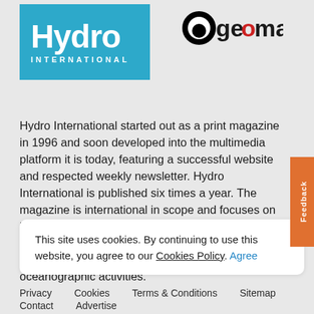[Figure (logo): Hydro International blue logo with white text]
[Figure (logo): Geomares logo with black circle and red 'o' accent]
Hydro International started out as a print magazine in 1996 and soon developed into the multimedia platform it is today, featuring a successful website and respected weekly newsletter. Hydro International is published six times a year. The magazine is international in scope and focuses on bringing to its readership topical overviews and the latest news and developments in the technology and management of hydrographic and oceanographic activities.
This site uses cookies. By continuing to use this website, you agree to our Cookies Policy. Agree
Privacy   Cookies   Terms & Conditions   Sitemap
Contact   Advertise